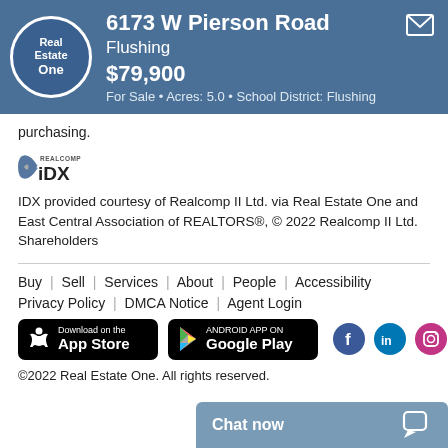6173 W Pierson Road
Flushing
$79,900
For Sale • Acres: 5.0 • School District: Flushing
purchasing.
[Figure (logo): Realcomp IDX logo]
IDX provided courtesy of Realcomp II Ltd. via Real Estate One and East Central Association of REALTORS®, © 2022 Realcomp II Ltd. Shareholders
Buy | Sell | Services | About | People | Accessibility
Privacy Policy | DMCA Notice | Agent Login
[Figure (logo): Download on the App Store button]
[Figure (logo): Android App on Google Play button]
[Figure (logo): Facebook, LinkedIn, Instagram social media icons]
©2022 Real Estate One. All rights reserved.